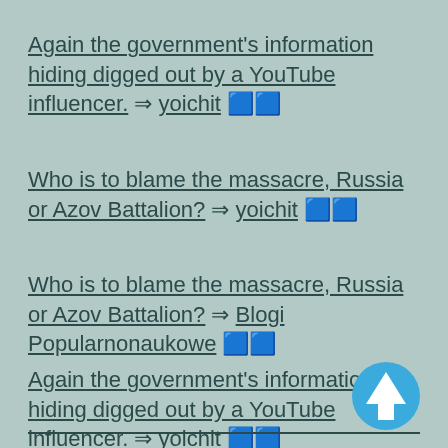Again the government's information hiding digged out by a YouTube influencer. ⇒ yoichit 🟦🟦
Who is to blame the massacre, Russia or Azov Battalion? ⇒ yoichit 🟦🟦
Who is to blame the massacre, Russia or Azov Battalion? ⇒ Blogi Popularnonaukowe 🟦🟦
Again the government's information hiding digged out by a YouTube influencer. ⇒ yoichit 🟦🟦
[Figure (illustration): Blue circular up-arrow button icon in bottom right corner]